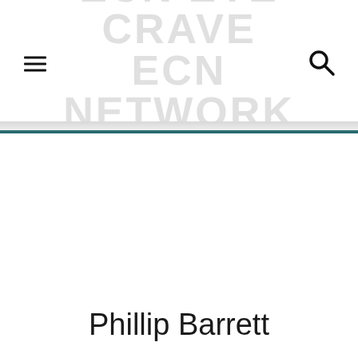ECN Eye Crave Network
Phillip Barrett